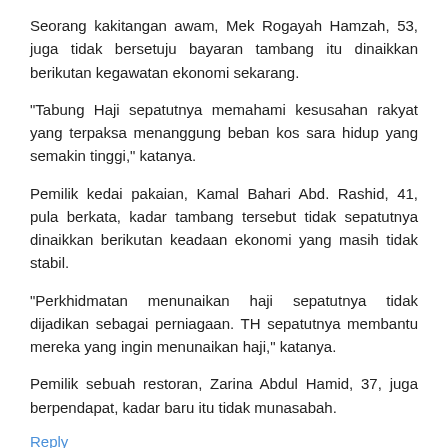Seorang kakitangan awam, Mek Rogayah Hamzah, 53, juga tidak bersetuju bayaran tambang itu dinaikkan berikutan kegawatan ekonomi sekarang.
"Tabung Haji sepatutnya memahami kesusahan rakyat yang terpaksa menanggung beban kos sara hidup yang semakin tinggi," katanya.
Pemilik kedai pakaian, Kamal Bahari Abd. Rashid, 41, pula berkata, kadar tambang tersebut tidak sepatutnya dinaikkan berikutan keadaan ekonomi yang masih tidak stabil.
"Perkhidmatan menunaikan haji sepatutnya tidak dijadikan sebagai perniagaan. TH sepatutnya membantu mereka yang ingin menunaikan haji," katanya.
Pemilik sebuah restoran, Zarina Abdul Hamid, 37, juga berpendapat, kadar baru itu tidak munasabah.
Reply